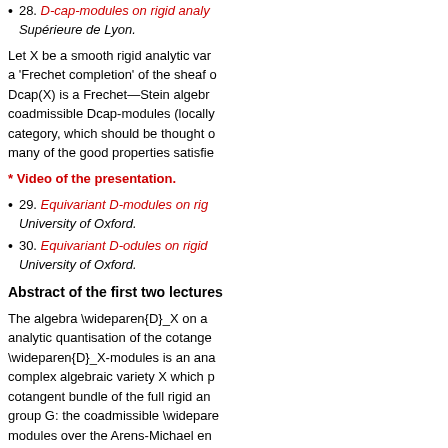28. D-cap-modules on rigid analytic varieties, École Normale Supérieure de Lyon.
Let X be a smooth rigid analytic variety. We construct a 'Frechet completion' of the sheaf of differential operators. Dcap(X) is a Frechet—Stein algebra. We study the category of coadmissible Dcap-modules (locally on X). This is an abelian category, which should be thought of as an analytic D-module, and many of the good properties satisfied by classical D-modules.
* Video of the presentation.
29. Equivariant D-modules on rigid analytic varieties, University of Oxford.
30. Equivariant D-odules on rigid analytic varieties, University of Oxford.
Abstract of the first two lectures
The algebra \wideparen{D}_X on a rigid analytic variety X is an analytic quantisation of the cotangent bundle T*X. The category of \wideparen{D}_X-modules is an analogue, for a smooth rigid analytic or complex algebraic variety X which pays attention to the full cotangent bundle of the full rigid analytic variety, acted on by a group G: the coadmissible \wideparen{D}-modules correspond to modules over the Arens-Michael envelope of (a completion of) U(g)_0 of the enveloping algebra U(g). The Arens-Michael envelope is, however, only